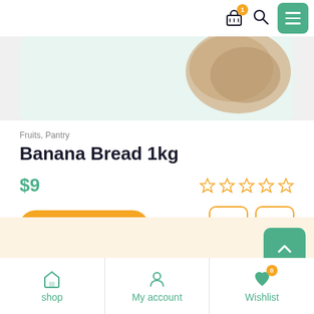Navigation bar with cart (1 item), search, and menu icons
[Figure (photo): Product image of banana bread on a light green background]
Fruits, Pantry
Banana Bread 1kg
$9
[Figure (other): 5 empty/outline star rating icons in orange]
VIEW CART →
[Figure (other): Heart (wishlist) icon button with orange border]
[Figure (other): Eye (quick view) icon button with orange border]
[Figure (other): Scroll to top button (green with up arrow chevron) on peach background]
shop | My account | Wishlist (0)